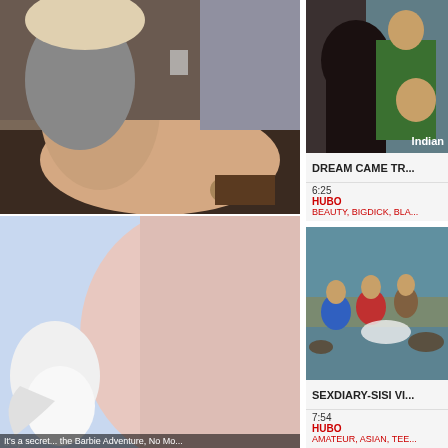[Figure (photo): Video thumbnail showing a woman on a couch]
[Figure (photo): Animated 3D character close-up, cartoon style]
[Figure (photo): Indian video thumbnail with overlay label 'Indian']
DREAM CAME TR...
6:25
HUBO
BEAUTY, BIGDICK, BLA...
[Figure (photo): Outdoor group scene near water]
SEXDIARY-SISI VI...
7:54
HUBO
AMATEUR, ASIAN, TEE...